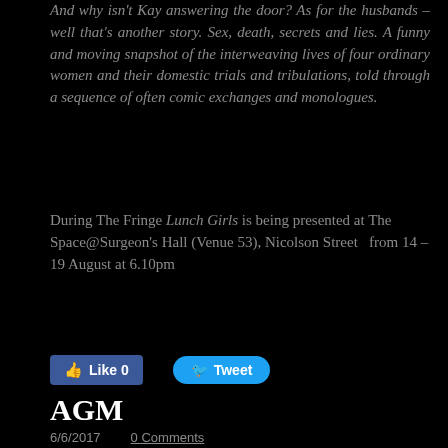And why isn't Kay answering the door? As for the husbands – well that's another story. Sex, death, secrets and lies. A funny and moving snapshot of the interweaving lives of four ordinary women and their domestic trials and tribulations, told through a sequence of often comic exchanges and monologues.
During The Fringe Lunch Girls is being presented at The Space@Surgeon's Hall (Venue 53), Nicolson Street  from 14 – 19 August at 6.10pm
[Figure (other): Facebook Like button (0 likes) and Twitter Tweet button]
AGM
6/6/2017    0 Comments